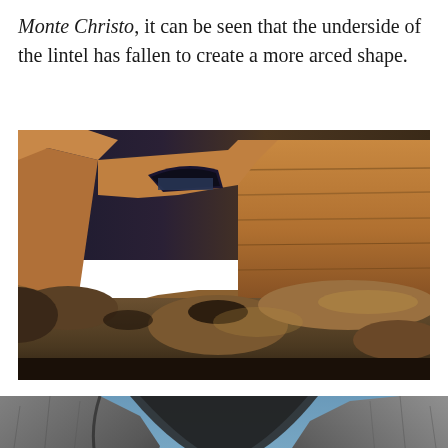Monte Christo, it can be seen that the underside of the lintel has fallen to create a more arced shape.
[Figure (photo): Wide landscape photograph of a natural rock arch (the Azure Window or similar limestone arch in Malta/Gozo) at golden hour. The arch stands on layered limestone cliffs, with a dark rocky foreground and the sea visible through the arch opening. The sky to the left is dark blue-grey with a faint cloud.]
[Figure (photo): Partial photograph of another rock arch formation viewed from below or at an angle, showing dark rocky surfaces with water visible beneath and a blue sky behind. Only the lower portion of the image is visible in the page crop.]